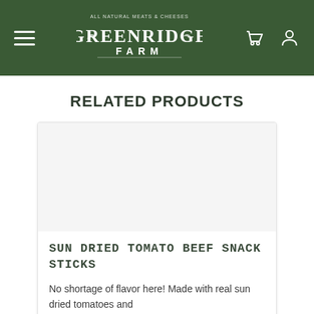Greenridge Farm
RELATED PRODUCTS
[Figure (other): Product image placeholder area for Sun Dried Tomato Beef Snack Sticks]
SUN DRIED TOMATO BEEF SNACK STICKS
No shortage of flavor here! Made with real sun dried tomatoes and